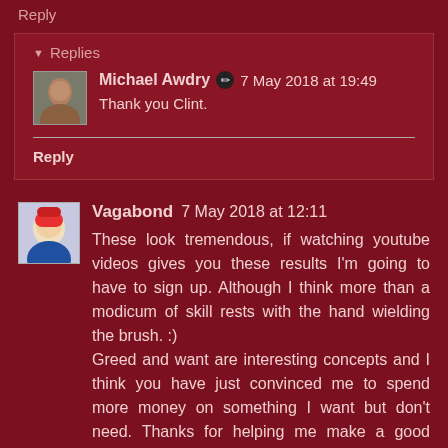Reply
Replies
Michael Awdry  ✏  7 May 2018 at 19:49
Thank you Clint.
Reply
Vagabond 7 May 2018 at 12:11
These look tremendous, if watching youtube videos gives you these results I'm going to have to sign up. Although I think more than a modicum of skill rests with the hand wielding the brush. :)
Greed and want are interesting concepts and I think you have just convinced me to spend more money on something I want but don't need. Thanks for helping me make a good decision.
Reply